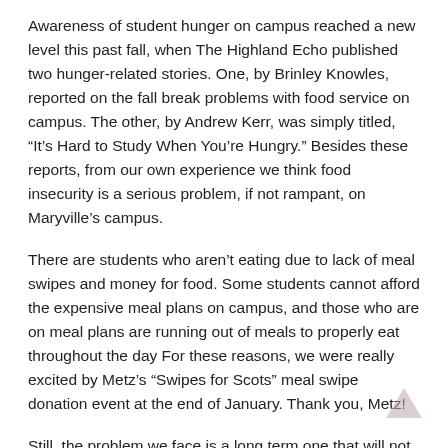Awareness of student hunger on campus reached a new level this past fall, when The Highland Echo published two hunger-related stories. One, by Brinley Knowles, reported on the fall break problems with food service on campus. The other, by Andrew Kerr, was simply titled, “It’s Hard to Study When You’re Hungry.” Besides these reports, from our own experience we think food insecurity is a serious problem, if not rampant, on Maryville’s campus.
There are students who aren’t eating due to lack of meal swipes and money for food. Some students cannot afford the expensive meal plans on campus, and those who are on meal plans are running out of meals to properly eat throughout the day For these reasons, we were really excited by Metz’s “Swipes for Scots” meal swipe donation event at the end of January. Thank you, Metz!
Still, the problem we face is a long term one that will not